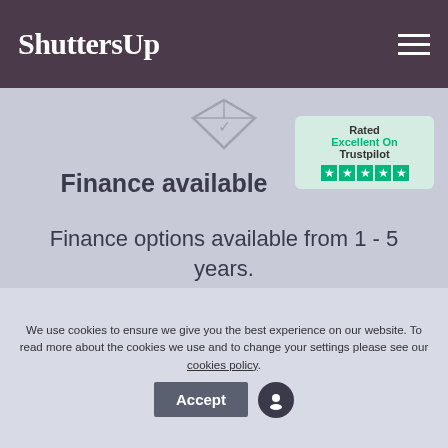ShuttersUp
[Figure (logo): ShuttersUp logo on dark purple header with hamburger menu icon]
[Figure (other): Trustpilot badge: Rated Excellent On Trustpilot with 5 green stars]
[Figure (illustration): Diamond/chevron decorative icon in light outline style]
Finance available
Finance options available from 1 - 5 years.
Find out more >
We use cookies to ensure we give you the best experience on our website. To read more about the cookies we use and to change your settings please see our cookies policy.